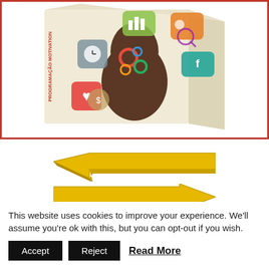[Figure (illustration): A product box with a human head silhouette showing gears/brain and colorful social media and technology icons floating around it. The box has a red border frame around it.]
[Figure (illustration): Two 3D golden/yellow arrows: one pointing left, one pointing right, displayed below the product box.]
This website uses cookies to improve your experience. We'll assume you're ok with this, but you can opt-out if you wish.
Accept  Reject  Read More